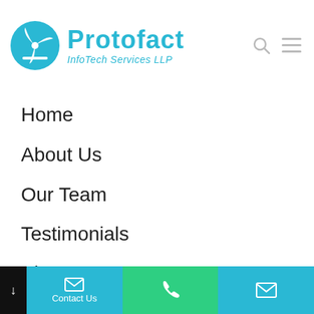[Figure (logo): Protofact InfoTech Services LLP logo with circular blue icon and teal text]
Home
About Us
Our Team
Testimonials
Blog
Video
Contact Us
Request A Callback
Contact Us | phone | email